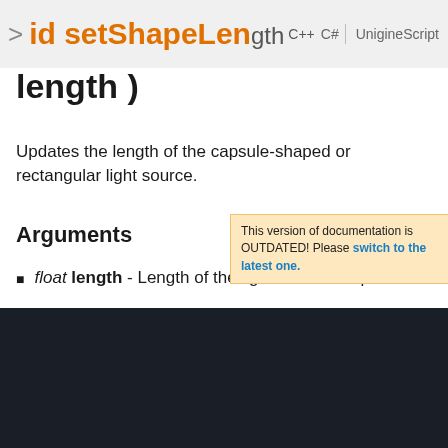void setShapeLength ( float length )
Updates the length of the capsule-shaped or rectangular light source.
This version of documentation is OUTDATED! Please switch to the latest one. ×
Arguments
float length - Length of the light source shape.
We use cookies to ensure that we give you the best experience on our website. Click here for more information.